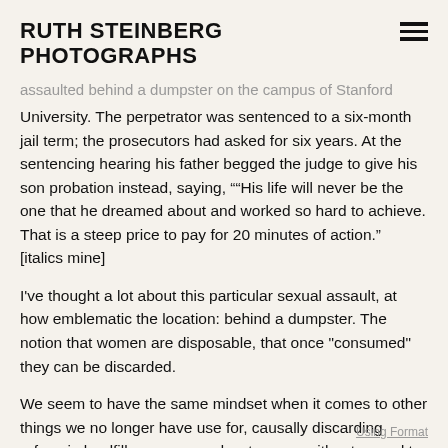RUTH STEINBERG PHOTOGRAPHS
assaulted behind a dumpster on the campus of Stanford University. The perpetrator was sentenced to a six-month jail term; the prosecutors had asked for six years. At the sentencing hearing his father begged the judge to give his son probation instead, saying, "“His life will never be the one that he dreamed about and worked so hard to achieve. That is a steep price to pay for 20 minutes of action.” [italics mine]
I've thought a lot about this particular sexual assault, at how emblematic the location: behind a dumpster. The notion that women are disposable, that once "consumed" they can be discarded.
We seem to have the same mindset when it comes to other things we no longer have use for, causally discarding refuse in landfills, oceans and waterways without regard to the lifeforms whose habitats we are destroying.
Using Format